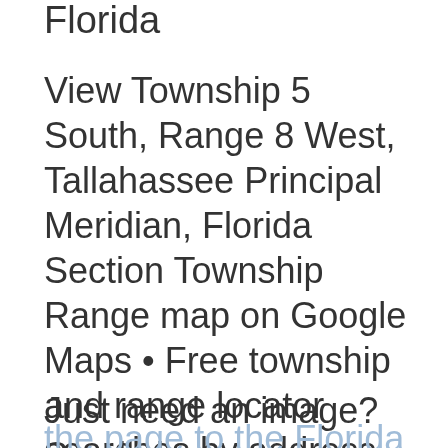Florida
View Township 5 South, Range 8 West, Tallahassee Principal Meridian, Florida Section Township Range map on Google Maps • Free township and range locator searches by address, place or reverse find by land parcel description.
Just need an image? Scroll down the page to the Florida Section Township Range Map Image